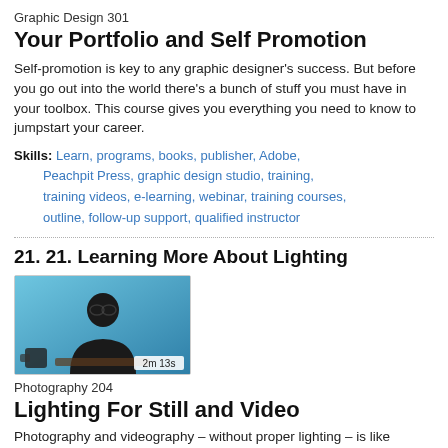Graphic Design 301
Your Portfolio and Self Promotion
Self-promotion is key to any graphic designer's success. But before you go out into the world there's a bunch of stuff you must have in your toolbox. This course gives you everything you need to know to jumpstart your career.
Skills: Learn, programs, books, publisher, Adobe, Peachpit Press, graphic design studio, training, training videos, e-learning, webinar, training courses, outline, follow-up support, qualified instructor
21. 21. Learning More About Lighting
[Figure (photo): Video thumbnail showing a man in a black shirt seated, with blue background. Duration label shows 2m 13s.]
Photography 204
Lighting For Still and Video
Photography and videography – without proper lighting – is like listening to music with awful sound quality. To assure that your